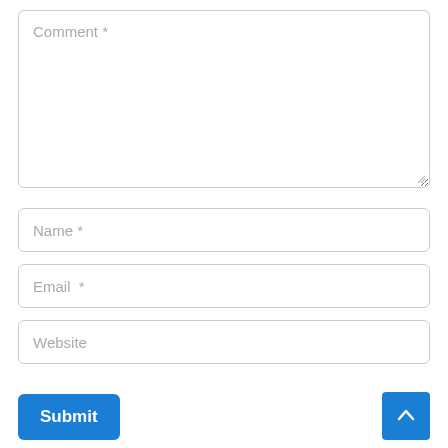[Figure (screenshot): A web comment form with a large textarea labeled 'Comment *', input fields for 'Name *', 'Email *', and 'Website', a blue 'Submit' button, and a blue scroll-to-top arrow button in the bottom right corner.]